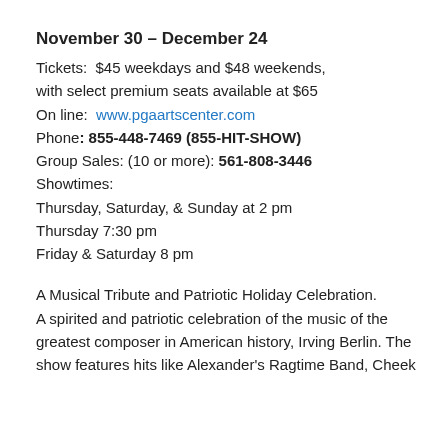November 30 – December 24
Tickets:  $45 weekdays and $48 weekends, with select premium seats available at $65
On line:  www.pgaartscenter.com
Phone: 855-448-7469 (855-HIT-SHOW)
Group Sales: (10 or more): 561-808-3446
Showtimes:
Thursday, Saturday, & Sunday at 2 pm
Thursday 7:30 pm
Friday & Saturday 8 pm
A Musical Tribute and Patriotic Holiday Celebration. A spirited and patriotic celebration of the music of the greatest composer in American history, Irving Berlin. The show features hits like Alexander's Ragtime Band, Cheek